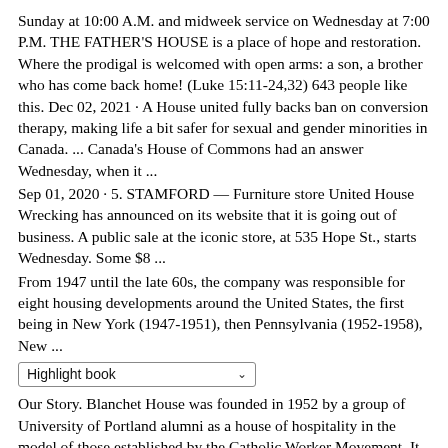Sunday at 10:00 A.M. and midweek service on Wednesday at 7:00 P.M. THE FATHER'S HOUSE is a place of hope and restoration. Where the prodigal is welcomed with open arms: a son, a brother who has come back home! (Luke 15:11-24,32) 643 people like this. Dec 02, 2021 · A House united fully backs ban on conversion therapy, making life a bit safer for sexual and gender minorities in Canada. ... Canada's House of Commons had an answer Wednesday, when it ...
Sep 01, 2020 · 5. STAMFORD — Furniture store United House Wrecking has announced on its website that it is going out of business. A public sale at the iconic store, at 535 Hope St., starts Wednesday. Some $8 ...
From 1947 until the late 60s, the company was responsible for eight housing developments around the United States, the first being in New York (1947-1951), then Pennsylvania (1952-1958), New ...
Highlight book
Our Story. Blanchet House was founded in 1952 by a group of University of Portland alumni as a house of hospitality in the model of those established by the Catholic Worker Movement. It started with a simple mission to offer food to the unemployed in Old Town. Since then, Blanchet has grown to provide clothing, hygiene items, community, and ...
A Manchester United fan group, The 1958, said it also plans protests before the Liverpool game with supporters unhappy after